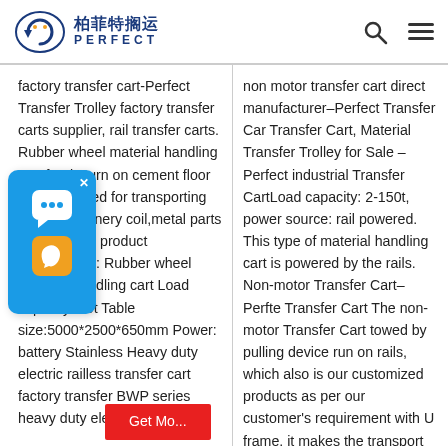柏菲特搁运 PERFECT
factory transfer cart-Perfect Transfer Trolley factory transfer carts supplier, rail transfer carts. Rubber wheel material handling cart freely turn on cement floor widely applied for transporting mold, machinery coil,metal parts etc. [Details] product specification: Rubber wheel material handling cart Load capacity: 40t Table size:5000*2500*650mm Power: battery Stainless Heavy duty electric railless transfer cart factory transfer BWP series heavy duty electric railless tr...
non motor transfer cart direct manufacturer–Perfect Transfer Car Transfer Cart, Material Transfer Trolley for Sale – Perfect industrial Transfer CartLoad capacity: 2-150t, power source: rail powered. This type of material handling cart is powered by the rails. Non-motor Transfer Cart–Perfte Transfer Cart The non-motor Transfer Cart towed by pulling device run on rails, which also is our customized products as per our customer's requirement with U frame, it makes the transport more stable. Wha...